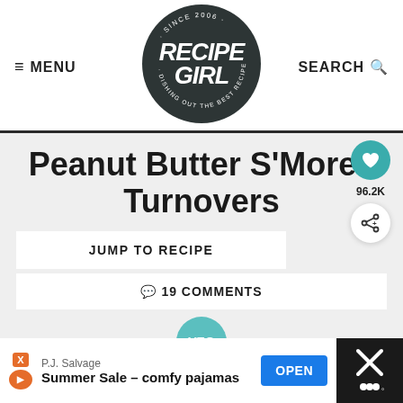MENU | RECIPE GIRL - SINCE 2006 - DISHING OUT THE BEST RECIPES | SEARCH
Peanut Butter S'Mores Turnovers
JUMP TO RECIPE
19 COMMENTS
VEG
96.2K
P.J. Salvage
Summer Sale – comfy pajamas
OPEN